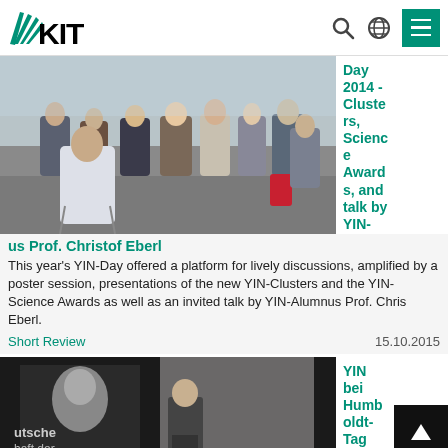KIT
[Figure (photo): Audience seated in chairs watching a presentation at the YIN-Day 2014 event]
Day 2014 - Clusters, Science Awards, and talk by YIN-Alumnus Prof. Christof Eberl
This year's YIN-Day offered a platform for lively discussions, amplified by a poster session, presentations of the new YIN-Clusters and the YIN-Science Awards as well as an invited talk by YIN-Alumnus Prof. Chris Eberl.
Short Review
15.10.2015
[Figure (photo): Speaker at a podium with a large screen showing an image, at a YIN being Humboldt-Tag 2014 event]
YIN bein Humboldt-Tag 2014